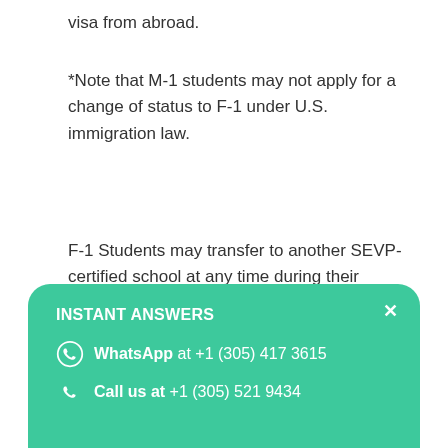visa from abroad.
*Note that M-1 students may not apply for a change of status to F-1 under U.S. immigration law.
F-1 Students may transfer to another SEVP-certified school at any time during their program or during their 60 day grace period, which begins upon the student's successful completion of his or her program.
[Figure (infographic): Green rounded overlay card with 'INSTANT ANSWERS' header, WhatsApp contact +1 (305) 417 3615, and Call us at +1 (305) 521 9434, with a close (x) button in the top right corner.]